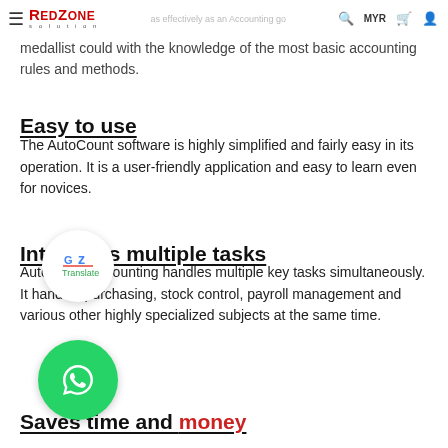RedZone Solution — MYR
learn as effectively as an Accounting gold medallist could with the knowledge of the most basic accounting rules and methods.
Easy to use
The AutoCount software is highly simplified and fairly easy in its operation. It is a user-friendly application and easy to learn even for novices.
Integrates multiple tasks
AutoCount Accounting handles multiple key tasks simultaneously. It handles purchasing, stock control, payroll management and various other highly specialized subjects at the same time.
Saves time and money